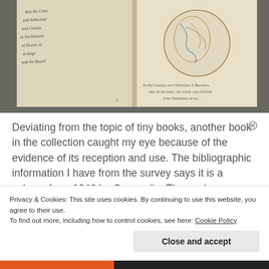[Figure (photo): A photograph of an open antique book showing handwritten text on the left page and a circular map on the right page with cursive text beneath it, laid on a gray surface.]
Deviating from the topic of tiny books, another book in the collection caught my eye because of the evidence of its reception and use.  The bibliographic information I have from the survey says it is a volume from 1646 by Commelin. The work documents
Privacy & Cookies: This site uses cookies. By continuing to use this website, you agree to their use.
To find out more, including how to control cookies, see here: Cookie Policy
Close and accept